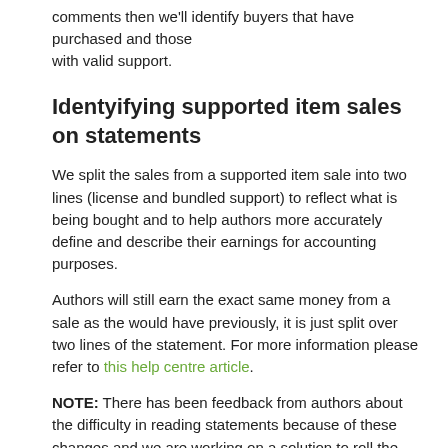comments then we'll identify buyers that have purchased and those with valid support.
Identyifying supported item sales on statements
We split the sales from a supported item sale into two lines (license and bundled support) to reflect what is being bought and to help authors more accurately define and describe their earnings for accounting purposes.
Authors will still earn the exact same money from a sale as the would have previously, it is just split over two lines of the statement. For more information please refer to this help centre article.
NOTE: There has been feedback from authors about the difficulty in reading statements because of these changes and we are working on a solution to roll the two line items